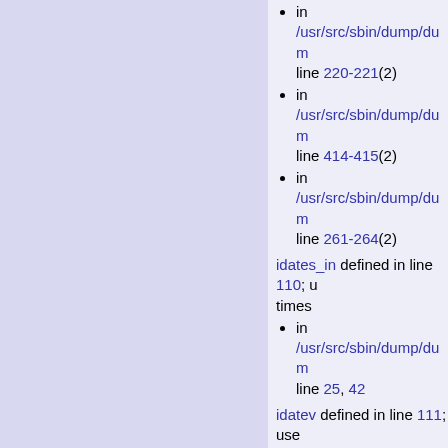[Figure (other): Left panel with light blue/lavender background, no text content visible]
in /usr/src/sbin/dump/dum line 220-221(2)
in /usr/src/sbin/dump/dum line 414-415(2)
in /usr/src/sbin/dump/dum line 261-264(2)
idates_in defined in line 110; times
in /usr/src/sbin/dump/dum line 25, 42
idatev defined in line 111; use times
in line 112(2)
in /usr/src/sbin/dump/dum line 47-49(2), 108
in /usr/src/sbin/dump/dum line 278
i defined in line 27...